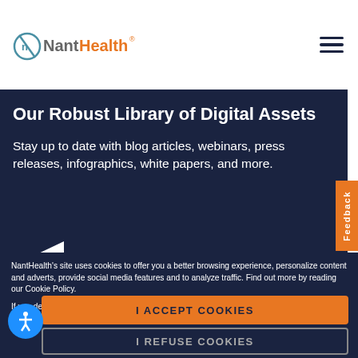[Figure (logo): NantHealth logo — circular icon with stylized 'n' and a slash, followed by 'NantHealth' text in grey and orange]
Our Robust Library of Digital Assets
Stay up to date with blog articles, webinars, press releases, infographics, white papers, and more.
NantHealth's site uses cookies to offer you a better browsing experience, personalize content and adverts, provide social media features and to analyze traffic. Find out more by reading our Cookie Policy.
If you decline, your information won't be tracked when you visit this website. A single cookie will be used in your browser to remember your preference not to be tracked.
I ACCEPT COOKIES
I REFUSE COOKIES